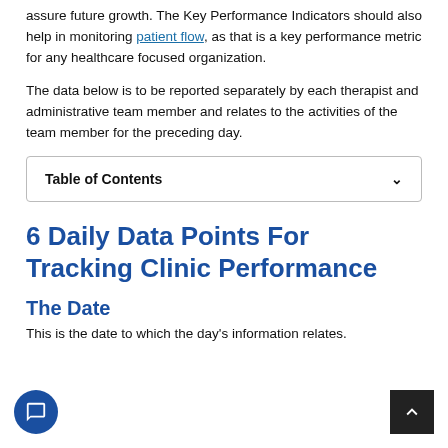assure future growth. The Key Performance Indicators should also help in monitoring patient flow, as that is a key performance metric for any healthcare focused organization.
The data below is to be reported separately by each therapist and administrative team member and relates to the activities of the team member for the preceding day.
| Table of Contents |
| --- |
6 Daily Data Points For Tracking Clinic Performance
The Date
This is the date to which the day's information relates.